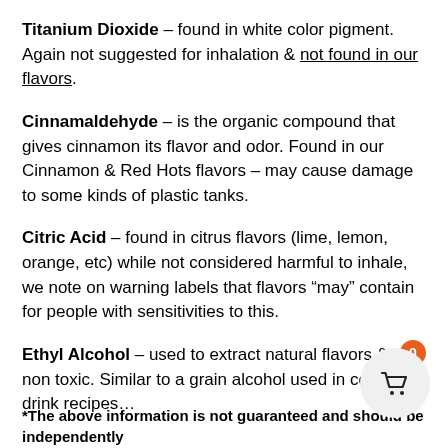Titanium Dioxide – found in white color pigment. Again not suggested for inhalation & not found in our flavors.
Cinnamaldehyde – is the organic compound that gives cinnamon its flavor and odor. Found in our Cinnamon & Red Hots flavors – may cause damage to some kinds of plastic tanks.
Citric Acid – found in citrus flavors (lime, lemon, orange, etc) while not considered harmful to inhale, we note on warning labels that flavors “may” contain for people with sensitivities to this.
Ethyl Alcohol – used to extract natural flavors & is non toxic. Similar to a grain alcohol used in college drink recipes…
*The above information is not guaranteed and should be independently